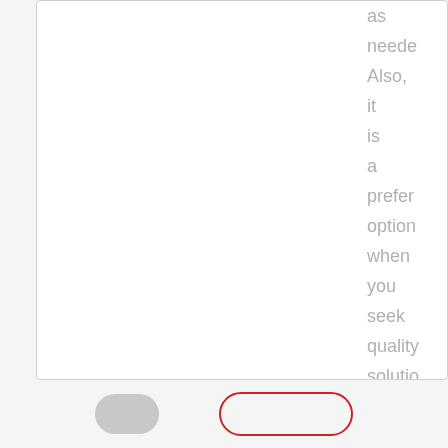as needed. Also, it is a preferred option when you seek quality solutions with comfort